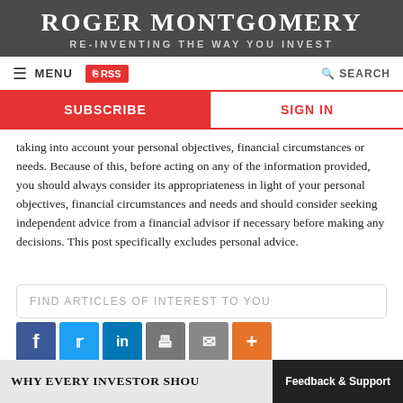ROGER MONTGOMERY
RE-INVENTING THE WAY YOU INVEST
MENU | RSS | SEARCH
SUBSCRIBE | SIGN IN
taking into account your personal objectives, financial circumstances or needs. Because of this, before acting on any of the information provided, you should always consider its appropriateness in light of your personal objectives, financial circumstances and needs and should consider seeking independent advice from a financial advisor if necessary before making any decisions. This post specifically excludes personal advice.
FIND ARTICLES OF INTEREST TO YOU
[Figure (infographic): Social sharing icons: Facebook, Twitter, LinkedIn, Print, Email, More]
WHY EVERY INVESTOR SHOU
Feedback & Support